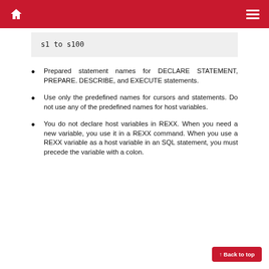s1 to s100
Prepared statement names for DECLARE STATEMENT, PREPARE. DESCRIBE, and EXECUTE statements.
Use only the predefined names for cursors and statements. Do not use any of the predefined names for host variables.
You do not declare host variables in REXX. When you need a new variable, you use it in a REXX command. When you use a REXX variable as a host variable in an SQL statement, you must precede the variable with a colon.